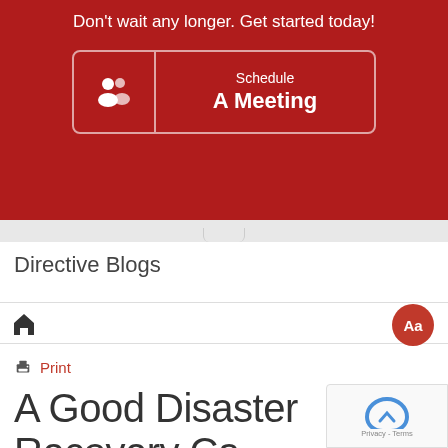Don't wait any longer. Get started today!
[Figure (infographic): Schedule A Meeting button with person/group icon on red background with white border]
Directive Blogs
[Figure (infographic): Navigation bar with home icon and Aa font-size badge]
Print
A Good Disaster Recovery Strategy Can Save Your Business